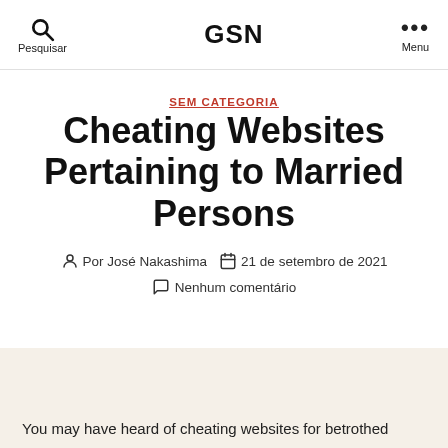GSN | Pesquisar | Menu
SEM CATEGORIA
Cheating Websites Pertaining to Married Persons
Por José Nakashima  21 de setembro de 2021  Nenhum comentário
You may have heard of cheating websites for betrothed